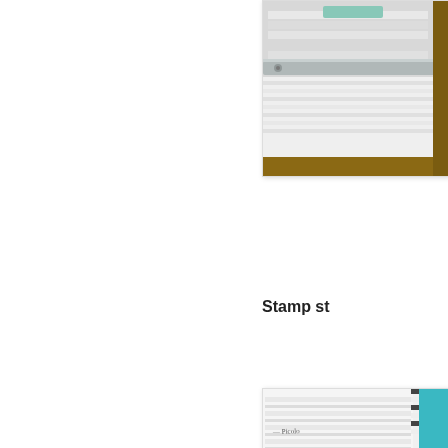[Figure (photo): Photo showing stamp storage supplies — paper/foam sheets and metal rails on a wooden surface, partially cropped at top right of page]
Stamp st
[Figure (photo): Photo showing stacked clear stamp storage sheets/pages with handwriting label visible and a card reading 'SO HAPPY FOR YOU' with a heart at the bottom]